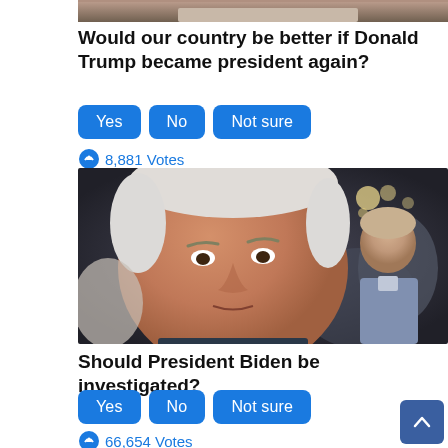[Figure (photo): Partial top image, bottom edge visible — appears to be a person cropped at top]
Would our country be better if Donald Trump became president again?
Yes  No  Not sure
8,881 Votes
[Figure (photo): Photo of President Joe Biden at a public event, looking concerned, with a younger man smiling in the background]
Should President Biden be investigated?
Yes  No  Not sure
66,654 Votes